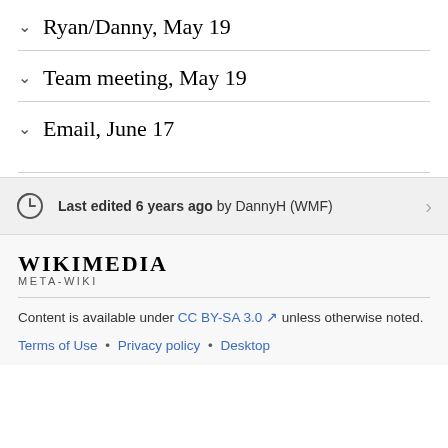Ryan/Danny, May 19
Team meeting, May 19
Email, June 17
Last edited 6 years ago by DannyH (WMF)
[Figure (logo): Wikimedia Meta-Wiki logo wordmark]
Content is available under CC BY-SA 3.0 unless otherwise noted.
Terms of Use • Privacy policy • Desktop